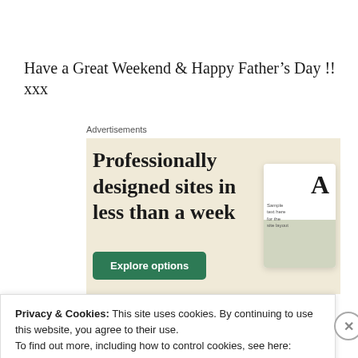Have a Great Weekend & Happy Father’s Day !! xxx
Advertisements
[Figure (screenshot): Advertisement banner with beige/cream background showing text 'Professionally designed sites in less than a week' with a green 'Explore options' button and a mockup of a website card interface on the right.]
Privacy & Cookies: This site uses cookies. By continuing to use this website, you agree to their use.
To find out more, including how to control cookies, see here: Cookie Policy
Close and accept